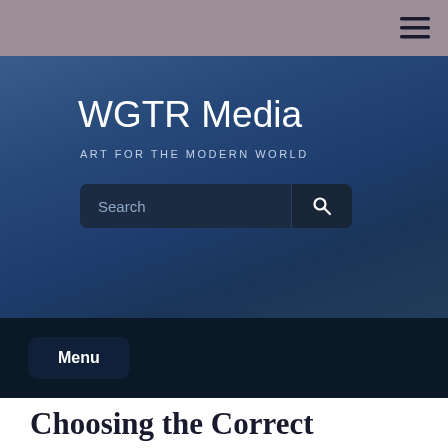≡ (hamburger menu icon)
WGTR Media
ART FOR THE MODERN WORLD
Search
Menu
Choosing the Correct Cushion
by Jack Staton  📅 July 9, 2021  🕐 9:50 am